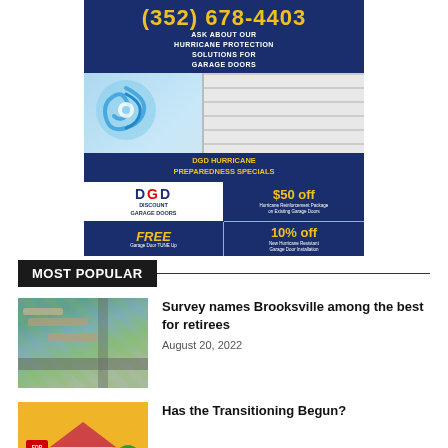[Figure (advertisement): DGD Discount Garage Doors advertisement with phone number (352) 678-4403, hurricane protection solutions, hurricane preparedness specials: $50 off Hurricane Reinforcement Package on Existing Garage Doors, FREE Garage Door Tune Up, 10% off New Hurricane Resistant Garage Door Installation.]
MOST POPULAR
[Figure (photo): Aerial view of suburban neighborhood with houses and streets]
Survey names Brooksville among the best for retirees
August 20, 2022
[Figure (illustration): Illustrated graphic with house and For Rent sign on yellow/orange background]
Has the Transitioning Begun?